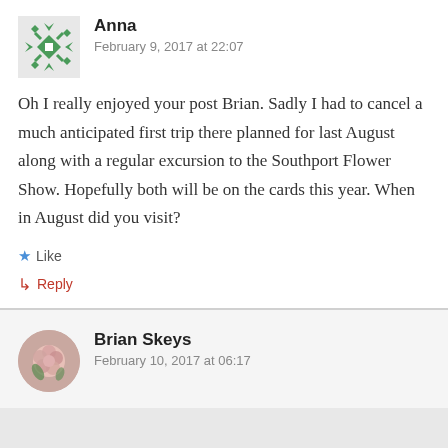Anna
February 9, 2017 at 22:07
Oh I really enjoyed your post Brian. Sadly I had to cancel a much anticipated first trip there planned for last August along with a regular excursion to the Southport Flower Show. Hopefully both will be on the cards this year. When in August did you visit?
Like
Reply
Brian Skeys
February 10, 2017 at 06:17